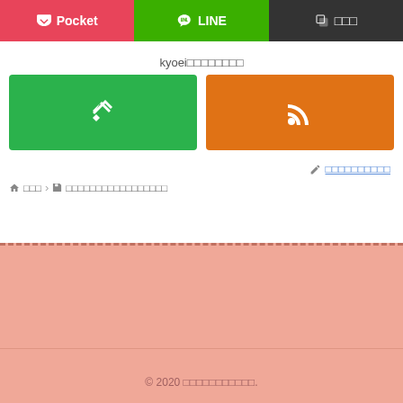[Figure (screenshot): Three share/action buttons: Pocket (red), LINE (green), copy button (dark gray) with Japanese text]
kyoei□□□□□□□□
[Figure (screenshot): Two follow buttons: Feedly (green with diamond icon) and RSS (orange with wifi/rss icon)]
✏ □□□□□□□□□□
🏠□□ › □□□□□□□□□□□□□□□□□
© 2020 □□□□□□□□□□□.